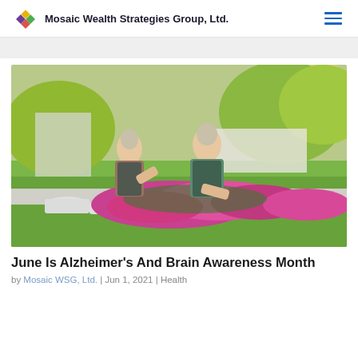Mosaic Wealth Strategies Group, Ltd.
[Figure (photo): Two elderly people working together planting pink flowers in a garden, wearing aprons, with green grass and trees in the background.]
June Is Alzheimer's And Brain Awareness Month
by Mosaic WSG, Ltd. | Jun 1, 2021 | Health